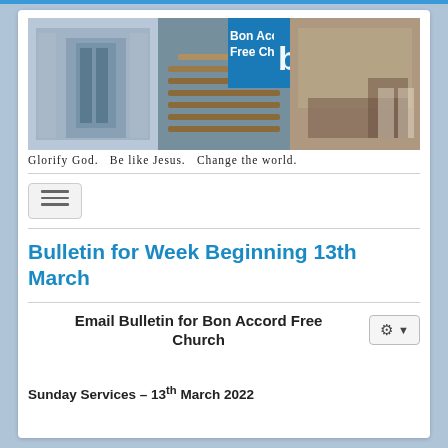[Figure (photo): Bon Accord Free Church banner with three photos of the church building (entrance, interior pews, hall space) and the church logo and name on a blue background]
Glorify God.   Be like Jesus.   Change the world.
[Figure (other): Hamburger menu icon button]
Bulletin for Week Beginning 13th March
Email Bulletin for Bon Accord Free Church
Sunday Services – 13th March 2022